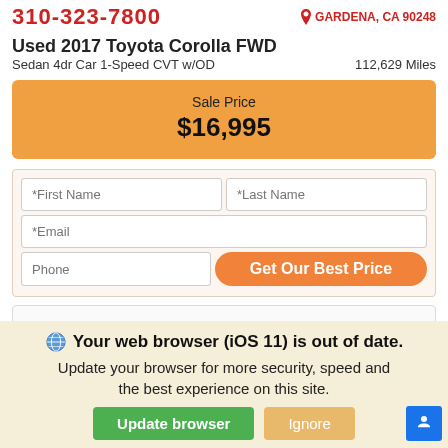310-323-7800 | GARDENA, CA 90248
Used 2017 Toyota Corolla FWD
Sedan 4dr Car 1-Speed CVT w/OD   112,629 Miles
Sale Price $16,995
*First Name | *Last Name | *Email | Phone | Get Our Best Price
[Figure (other): Empty content box / ad placeholder]
Your web browser (iOS 11) is out of date. Update your browser for more security, speed and the best experience on this site. [Update browser] [Ignore]